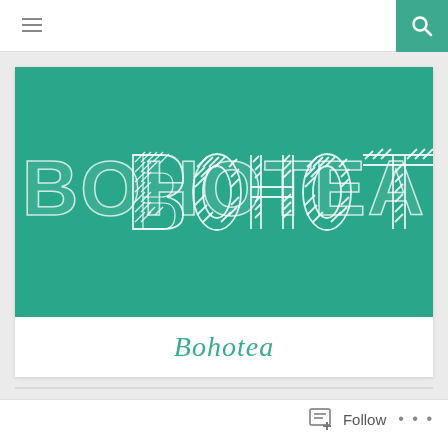[Figure (logo): Website screenshot showing a navigation bar with hamburger menu icon and teal search button, a card with teal background displaying the BOHOTEA logo text in decorative outlined font, the text Bohotea in italic teal below the card, and a Follow button at the bottom right.]